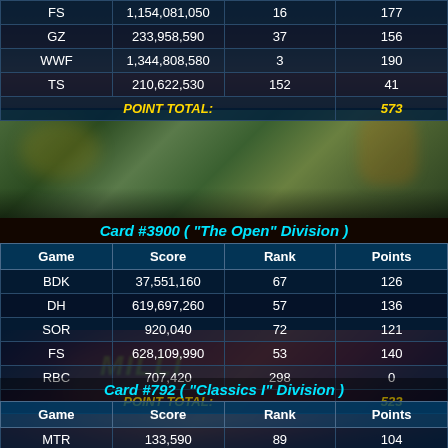| Game | Score | Rank | Points |
| --- | --- | --- | --- |
| FS | 1,154,081,050 | 16 | 177 |
| GZ | 233,958,590 | 37 | 156 |
| WWF | 1,344,808,580 | 3 | 190 |
| TS | 210,622,530 | 152 | 41 |
| POINT TOTAL: |  |  | 573 |
[Figure (photo): Blurred colorful pinball machine playfield with green and brown tones]
Card #3900 ( "The Open" Division )
| Game | Score | Rank | Points |
| --- | --- | --- | --- |
| BDK | 37,551,160 | 67 | 126 |
| DH | 619,697,260 | 57 | 136 |
| SOR | 920,040 | 72 | 121 |
| FS | 628,109,990 | 53 | 140 |
| RBC | 707,420 | 298 | 0 |
| POINT TOTAL: |  |  | 523 |
[Figure (photo): Close-up of a pinball machine with red and orange lighting, Williams logo visible]
Card #792 ( "Classics I" Division )
| Game | Score | Rank | Points |
| --- | --- | --- | --- |
| MTR | 133,590 | 89 | 104 |
| 9B | 242,700 | 82 | 111 |
| MAG | 204,220 | 60 | 133 |
| FP | 68,100 | 92 | 101 |